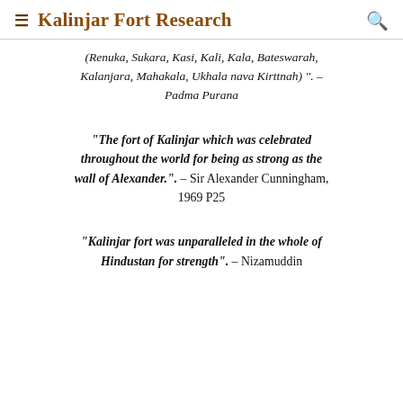Kalinjar Fort Research
(Renuka, Sukara, Kasi, Kali, Kala, Bateswarah, Kalanjara, Mahakala, Ukhala nava Kirttnah) ". – Padma Purana
"The fort of Kalinjar which was celebrated throughout the world for being as strong as the wall of Alexander.". – Sir Alexander Cunningham, 1969 P25
"Kalinjar fort was unparalleled in the whole of Hindustan for strength". – Nizamuddin